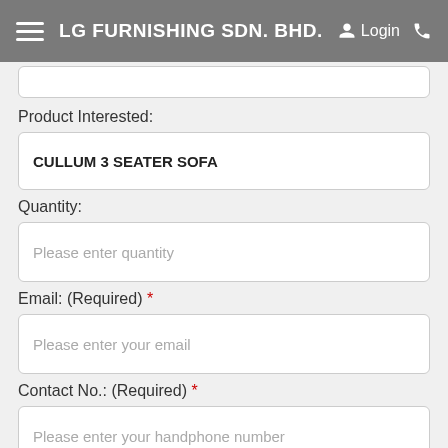LG FURNISHING SDN. BHD.
Product Interested:
CULLUM 3 SEATER SOFA
Quantity:
Please enter quantity
Email: (Required) *
Please enter your email
Contact No.: (Required) *
Please enter your handphone number
A...nt:
Choose Files No file chosen